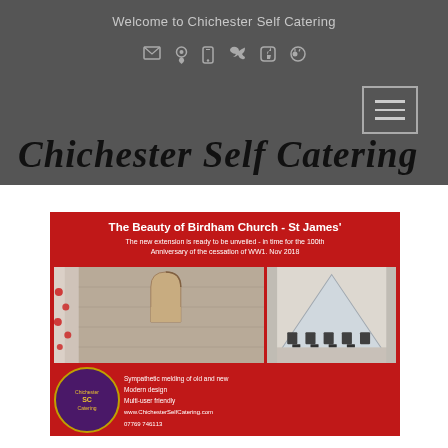Welcome to Chichester Self Catering
Chichester Self Catering
[Figure (screenshot): Promotional card for Birdham Church St James with two photos of the interior old stone church and new extension, and Chichester Self Catering logo. Red background with white text. Title: The Beauty of Birdham Church - St James'. Subtitle: The new extension is ready to be unveiled - in time for the 100th Anniversary of the cessation of WW1. Nov 2018. Text: Sympathetic melding of old and new, Modern design, Multi-user friendly. www.ChichesterSelfCatering.com 07769 746113]